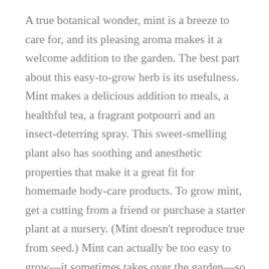A true botanical wonder, mint is a breeze to care for, and its pleasing aroma makes it a welcome addition to the garden. The best part about this easy-to-grow herb is its usefulness. Mint makes a delicious addition to meals, a healthful tea, a fragrant potpourri and an insect-deterring spray. This sweet-smelling plant also has soothing and anesthetic properties that make it a great fit for homemade body-care products. To grow mint, get a cutting from a friend or purchase a starter plant at a nursery. (Mint doesn't reproduce true from seed.) Mint can actually be too easy to grow—it sometimes takes over the garden—so give this attractive ground cover plenty of room to spread, or plant it in a container.